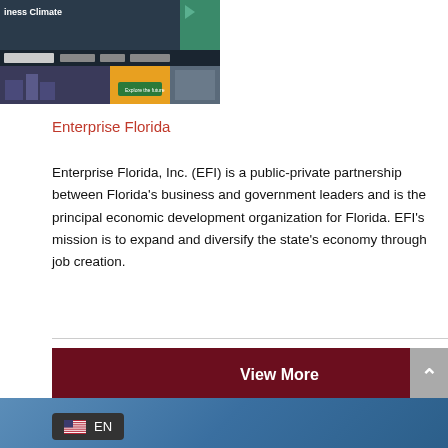[Figure (screenshot): Screenshot of Enterprise Florida website showing colorful business climate page with navigation bar, yellow and green blocks, and city imagery. Partial text 'iness Climate' visible in header.]
Enterprise Florida
Enterprise Florida, Inc. (EFI) is a public-private partnership between Florida’s business and government leaders and is the principal economic development organization for Florida. EFI’s mission is to expand and diversify the state’s economy through job creation.
View More
EN